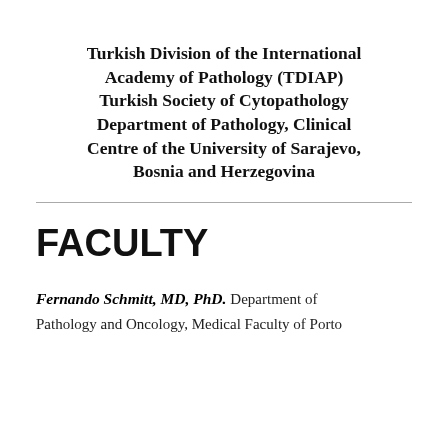Turkish Division of the International Academy of Pathology (TDIAP) Turkish Society of Cytopathology Department of Pathology, Clinical Centre of the University of Sarajevo, Bosnia and Herzegovina
FACULTY
Fernando Schmitt, MD, PhD. Department of Pathology and Oncology, Medical Faculty of Porto